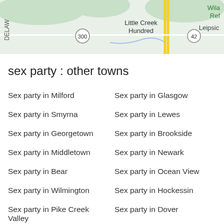[Figure (map): Partial map showing Little Creek Hundred, Leipsic, Delaware area with routes 300 and 42 visible]
sex party : other towns
Sex party in Milford
Sex party in Glasgow
Sex party in Smyrna
Sex party in Lewes
Sex party in Georgetown
Sex party in Brookside
Sex party in Middletown
Sex party in Newark
Sex party in Bear
Sex party in Ocean View
Sex party in Wilmington
Sex party in Hockessin
Sex party in Pike Creek Valley
Sex party in Dover
Sex party in Millsboro